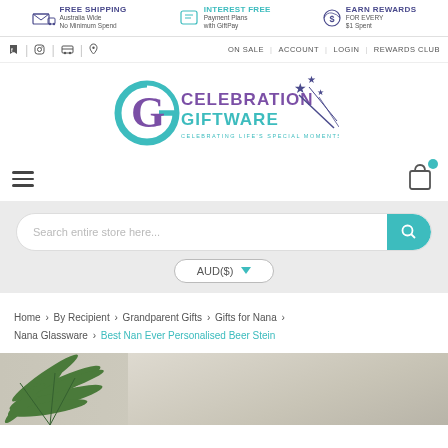FREE SHIPPING Australia Wide No Minimum Spend | INTEREST FREE Payment Plans with GiftPay | EARN REWARDS FOR EVERY $1 Spent
ON SALE | ACCOUNT | LOGIN | REWARDS CLUB
[Figure (logo): Celebration Giftware logo with teal G circle and purple text, stars decoration. Tagline: CELEBRATING LIFE'S SPECIAL MOMENTS]
Search entire store here...
AUD($)
Home > By Recipient > Grandparent Gifts > Gifts for Nana > Nana Glassware > Best Nan Ever Personalised Beer Stein
[Figure (photo): Product page hero image showing green fern plant on left with stone/sandstone texture background on right]